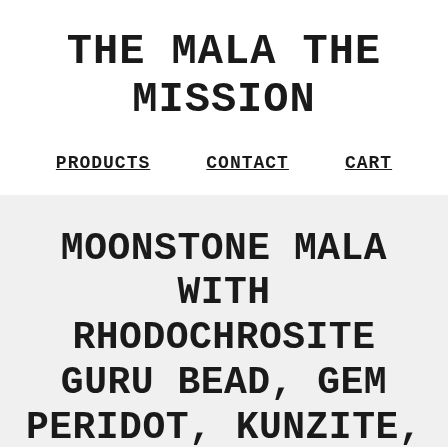THE MALA THE MISSION
PRODUCTS   CONTACT   CART
MOONSTONE MALA WITH RHODOCHROSITE GURU BEAD, GEM PERIDOT, KUNZITE,